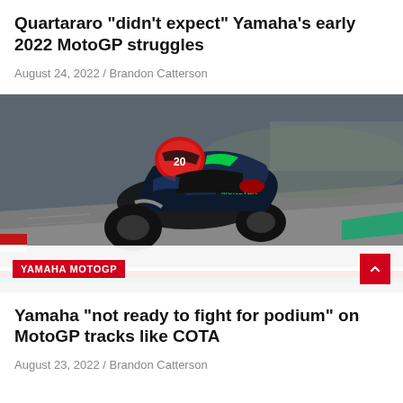Quartararo “did’t expect” Yamaha’s early 2022 MotoGP struggles
August 24, 2022 / Brandon Catterson
[Figure (photo): MotoGP rider on a Yamaha Monster Energy motorcycle leaning into a turn on a racing circuit with red and green curbs visible]
YAMAHA MOTOGP
Yamaha “not ready to fight for podium” on MotoGP tracks like COTA
August 23, 2022 / Brandon Catterson